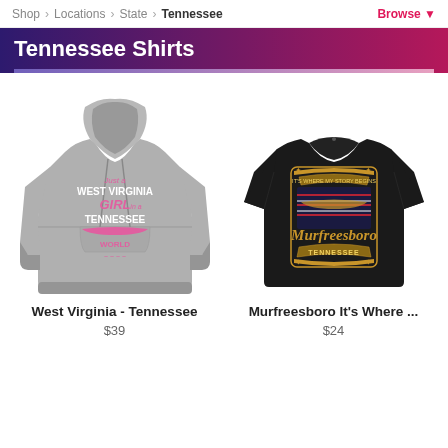Shop > Locations > State > Tennessee | Browse
Tennessee Shirts
[Figure (photo): Gray hoodie sweatshirt with pink text: Just a West Virginia Girl in a Tennessee World]
West Virginia - Tennessee
$39
[Figure (photo): Black t-shirt with gold graphic: Murfreesboro Tennessee It's Where My Story Begins]
Murfreesboro It's Where ...
$24